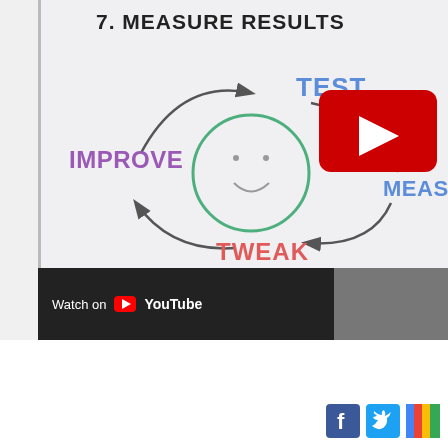7. MEASURE RESULTS
[Figure (infographic): Circular cycle diagram showing TEST (blue, top), MEASURE (blue, right, partially cut off), TWEAK (red/pink, bottom), and IMPROVE (purple, left) arranged around a smiley face circle in green. Curved arrows connect each step in a clockwise cycle. A red YouTube play button overlay is shown in the upper right of the diagram.]
Watch on YouTube
[Figure (logo): Social media icons: Facebook (blue), Twitter (light blue), Google+ (multicolor) partially visible at bottom right]